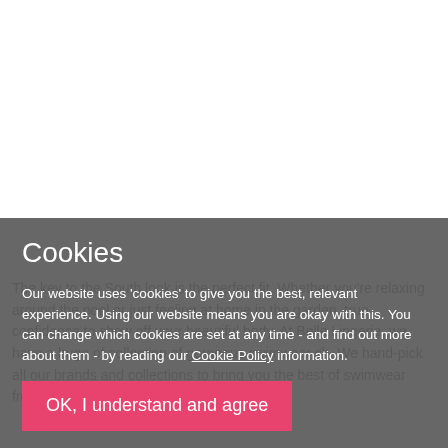[Figure (screenshot): White area representing a webpage background above the cookie consent overlay]
Cookies
Our website uses 'cookies' to give you the best, relevant experience. Using our website means you are okay with this. You can change which cookies are set at any time - and find out more about them - by reading our Cookie Policy information.
OK, I understand and agree